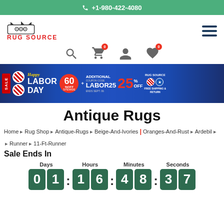+1-980-422-4080
[Figure (logo): Rug Source crown logo with text RUG SOURCE in red]
[Figure (infographic): Happy Labor Day Sale banner: 60% off sitewide + additional 25% off with coupon code LABOR25, ends Sept. 06, Free Shipping and Return]
Antique Rugs
Home > Rug Shop > Antique-Rugs > Beige-And-Ivories | Oranges-And-Rust > Ardebil > > Runner > 11-Ft-Runner
Sale Ends In
Days: 01  Hours: 16  Minutes: 48  Seconds: 37